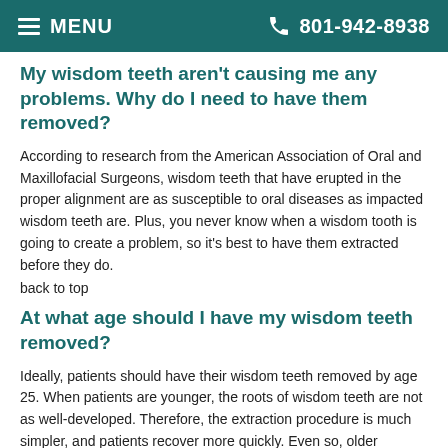MENU  801-942-8938
My wisdom teeth aren't causing me any problems. Why do I need to have them removed?
According to research from the American Association of Oral and Maxillofacial Surgeons, wisdom teeth that have erupted in the proper alignment are as susceptible to oral diseases as impacted wisdom teeth are. Plus, you never know when a wisdom tooth is going to create a problem, so it's best to have them extracted before they do.
back to top
At what age should I have my wisdom teeth removed?
Ideally, patients should have their wisdom teeth removed by age 25. When patients are younger, the roots of wisdom teeth are not as well-developed. Therefore, the extraction procedure is much simpler, and patients recover more quickly. Even so, older patients who still have their wisdom